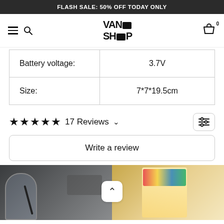FLASH SALE: 50% OFF TODAY ONLY
[Figure (screenshot): Navigation bar with hamburger menu, search icon, VAND SHOP logo, and cart icon with badge 0]
| Battery voltage: | 3.7V |
| Size: | 7*7*19.5cm |
★★★★★ 17 Reviews ∨
Write a review
[Figure (photo): Two product review photos side by side: left shows a glass and dark cord on a table, right shows a lit lamp with colorful label]